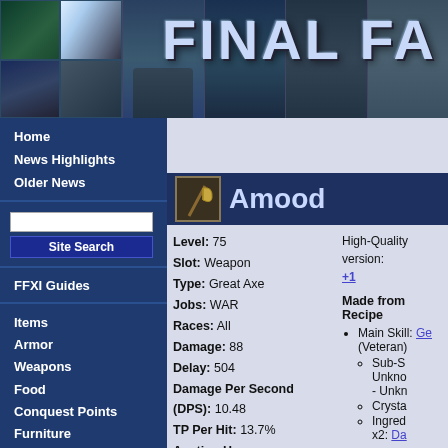[Figure (screenshot): Final Fantasy XI website banner header with game logo and screenshot collage of game scenes]
Home
News Highlights
Older News
Site Search
FFXI Guides
Items
Armor
Weapons
Food
Conquest Points
Furniture
Abjuration
Advanced Search
Item Search
Quests
Amood
Level: 75
Slot: Weapon
Type: Great Axe
Jobs: WAR
Races: All
Damage: 88
Delay: 504
Damage Per Second (DPS): 10.48
TP Per Hit: 13.7%
High-Quality version: +1
Made from Recipe
Main Skill: Ge... (Veteran)
Sub-S... Unknown - Unknown
Crystal...
Ingred... x2: Da...